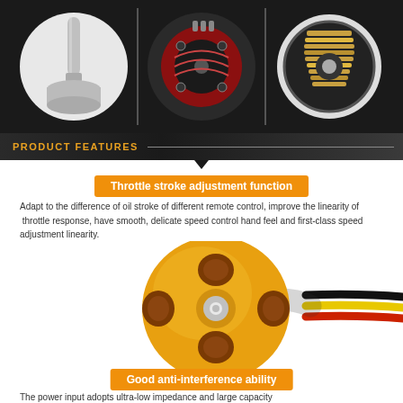[Figure (photo): Three close-up photos of a brushless motor's components: shaft end, stator/coil end, and exterior casing, displayed on dark background]
PRODUCT FEATURES
Throttle stroke adjustment function
Adapt to the difference of oil stroke of different remote control, improve the linearity of throttle response, have smooth, delicate speed control hand feel and first-class speed adjustment linearity.
[Figure (photo): Close-up photo of a gold/yellow brushless motor viewed from the stator end, showing copper windings and three colored wires (black, yellow, red) extending to the right]
Good anti-interference ability
The power input adopts ultra-low impedance and large capacity